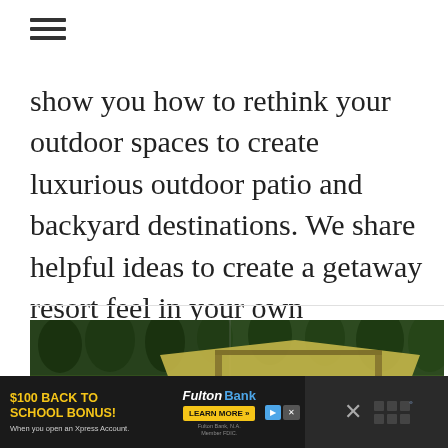[Figure (other): Hamburger menu icon (three horizontal lines)]
show you how to rethink your outdoor spaces to create luxurious outdoor patio and backyard destinations. We share helpful ideas to create a getaway resort feel in your own backyard.
[Figure (photo): Outdoor backyard scene with green trees and a yellow fabric canopy structure on poles over a grass area]
[Figure (other): Advertisement banner: $100 Back to School Bonus! Fulton Bank - When you open an Xpress Account. Learn More button. Fulton Bank, N.A. Member FDIC.]